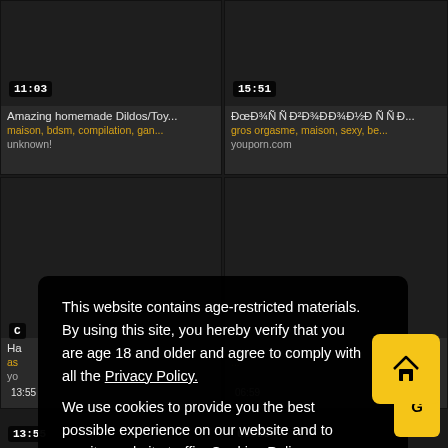[Figure (screenshot): Video thumbnail grid - top left cell with duration 11:03, title 'Amazing homemade Dildos/Toy...', tags 'maison, bdsm, compilation, gan...', source 'unknown!']
[Figure (screenshot): Video thumbnail grid - top right cell with duration 15:51, title in Cyrillic 'ÐœÐ¾Ñ Ñ Ð²Ð¾Ð´Ð½Ð½Ð Ñ Ð...', tags 'gros orgasme, maison, sexy, be...', source 'youporn.com']
[Figure (screenshot): Video thumbnail grid - bottom left and right cells partially obscured by modal overlay]
This website contains age-restricted materials. By using this site, you hereby verify that you are age 18 and older and agree to comply with all the Privacy Policy. We use cookies to provide you the best possible experience on our website and to monitor website traffic. Cookies Policy.